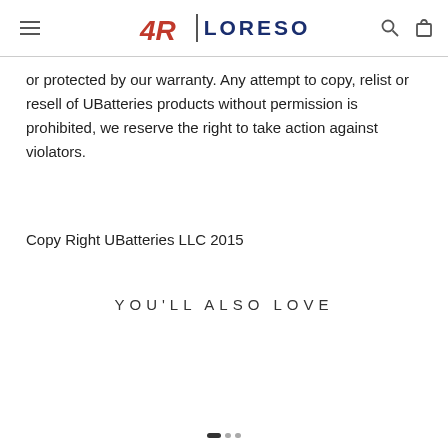4R | LORESO
or protected by our warranty. Any attempt to copy, relist or resell of UBatteries products without permission is prohibited, we reserve the right to take action against violators.
Copy Right UBatteries LLC 2015
YOU'LL ALSO LOVE